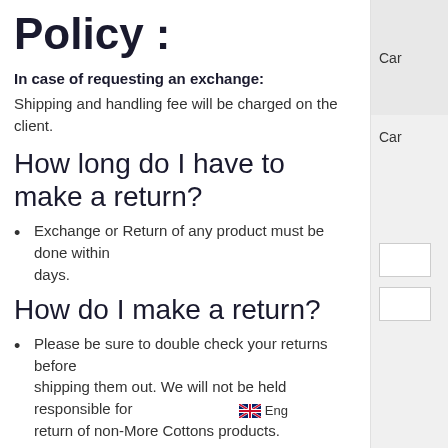Policy :
In case of requesting an exchange:
Shipping and handling fee will be charged on the client.
How long do I have to make a return?
Exchange or Return of any product must be done within days.
How do I make a return?
Please be sure to double check your returns before shipping them out. We will not be held responsible for return of non-More Cottons products.
The reason for the return and conditions must be acceptable.
If you recieve a damaged/defective item, please contact us during business hours from 9 AM to 5PM within 24 hours
First the product will be checked by our produ...